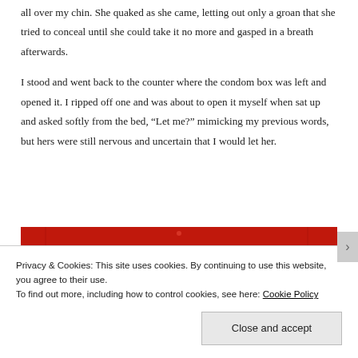all over my chin. She quaked as she came, letting out only a groan that she tried to conceal until she could take it no more and gasped in a breath afterwards.
I stood and went back to the counter where the condom box was left and opened it. I ripped off one and was about to open it myself when sat up and asked softly from the bed, “Let me?” mimicking my previous words, but hers were still nervous and uncertain that I would let her.
[Figure (screenshot): Red banner with a black 'Start reading' button in italic text on a dark button, centered on a crimson background.]
Privacy & Cookies: This site uses cookies. By continuing to use this website, you agree to their use.
To find out more, including how to control cookies, see here: Cookie Policy
Close and accept